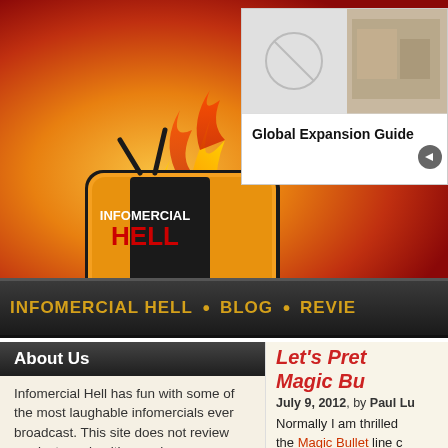[Figure (logo): Infomercial Hell logo — orange TV with flames and text 'INFOMERCIAL HELL' on gradient orange-red background]
[Figure (screenshot): Advertisement box showing 'Global Expansion Guide' with arrow button, images on right side of header]
INFOMERCIAL HELL • BLOG • REVIE
About Us
Infomercial Hell has fun with some of the most laughable infomercials ever broadcast. This site does not review products and neither endorses nor condemns any of the products sold on the infomercials.
Let's Prete Magic Bul
July 9, 2012, by Paul Lu
Normally I am thrilled the Magic Bullet line c two months ago.